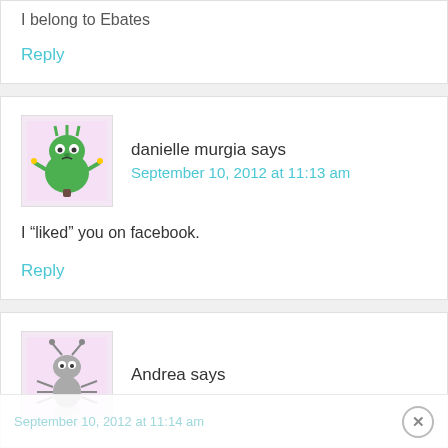I belong to Ebates
Reply
danielle murgia says
September 10, 2012 at 11:13 am
I “liked” you on facebook.
Reply
Andrea says
September 10, 2012 at 11:14 am